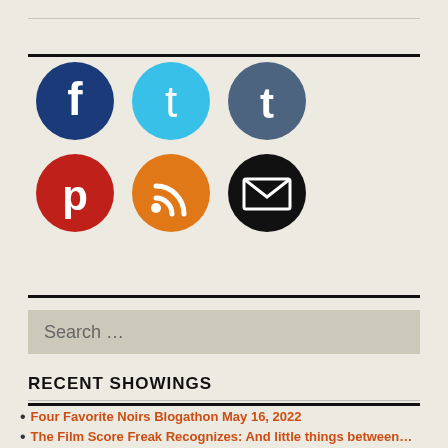[Figure (infographic): Six social media icon circles in two rows: Facebook (dark blue), Twitter (light blue), Tumblr (steel blue), Pinterest (red), RSS (orange), Email (black)]
Search …
RECENT SHOWINGS
Four Favorite Noirs Blogathon May 16, 2022
The Film Score Freak Recognizes: And little things between…
Thank You For Being a Friend: Saying Goodbye to Betty